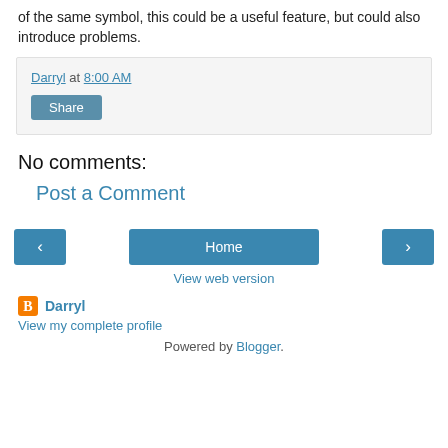of the same symbol, this could be a useful feature, but could also introduce problems.
Darryl at 8:00 AM
Share
No comments:
Post a Comment
‹  Home  ›
View web version
Darryl
View my complete profile
Powered by Blogger.